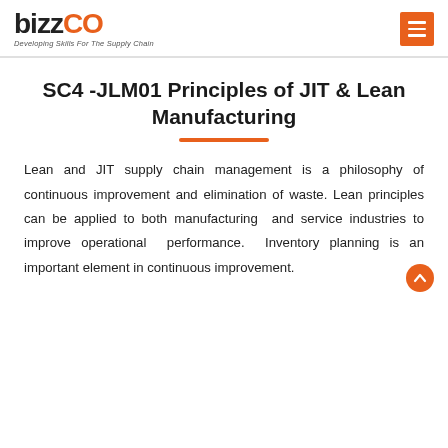bizzCO — Developing Skills For The Supply Chain
SC4 -JLM01 Principles of JIT & Lean Manufacturing
Lean and JIT supply chain management is a philosophy of continuous improvement and elimination of waste. Lean principles can be applied to both manufacturing and service industries to improve operational performance. Inventory planning is an important element in continuous improvement.